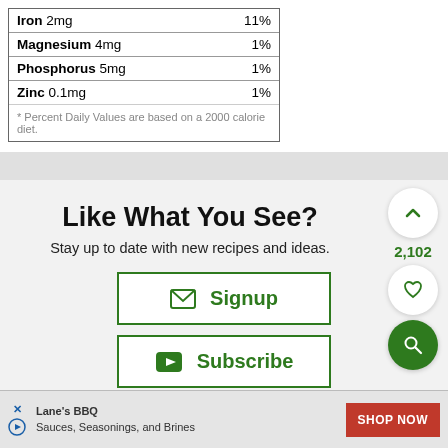| Nutrient | %DV |
| --- | --- |
| Iron 2mg | 11% |
| Magnesium 4mg | 1% |
| Phosphorus 5mg | 1% |
| Zinc 0.1mg | 1% |
* Percent Daily Values are based on a 2000 calorie diet.
Like What You See?
Stay up to date with new recipes and ideas.
Signup
Subscribe
2,102